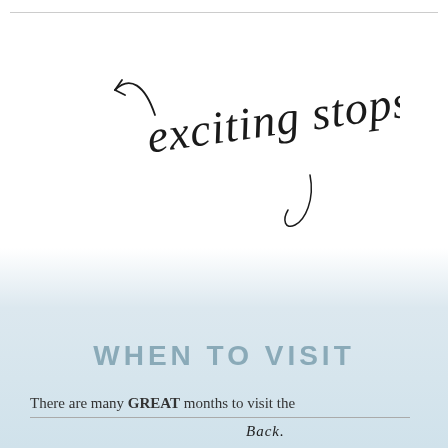[Figure (illustration): Handwritten cursive script reading 'exciting stops' with an upward curved arrow pointing left, in black ink on white background]
WHEN TO VISIT
There are many GREAT months to visit the
Back.